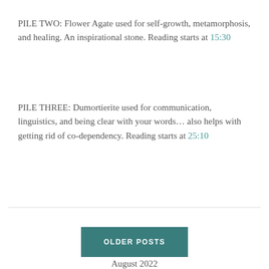starts at 9:51
PILE TWO: Flower Agate used for self-growth, metamorphosis, and healing. An inspirational stone. Reading starts at 15:30
PILE THREE: Dumortierite used for communication, linguistics, and being clear with your words… also helps with getting rid of co-dependency. Reading starts at 25:10
OLDER POSTS
August 2022